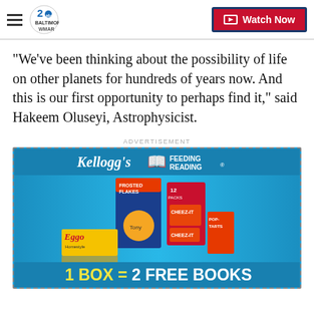WHAR Baltimore — Watch Now
"We've been thinking about the possibility of life on other planets for hundreds of years now. And this is our first opportunity to perhaps find it," said Hakeem Oluseyi, Astrophysicist.
ADVERTISEMENT
[Figure (photo): Kellogg's Feeding Reading advertisement showing Frosted Flakes, Eggo, Cheez-It, and Pop-Tarts boxes. Tagline: 1 BOX = 2 FREE BOOKS]